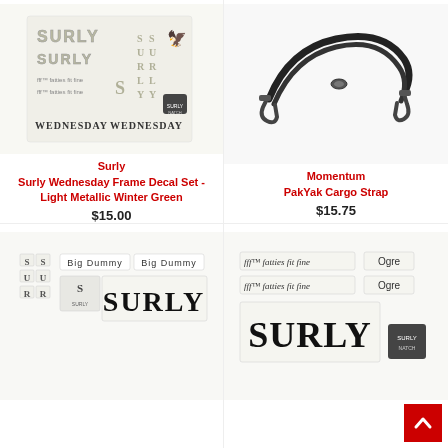[Figure (photo): Surly Wednesday Frame Decal Set product image showing various decals on light background]
Surly
Surly Wednesday Frame Decal Set - Light Metallic Winter Green
$15.00
[Figure (photo): Momentum PakYak Cargo Strap product image showing black elastic cargo strap with hooks on white background]
Momentum
PakYak Cargo Strap
$15.75
[Figure (photo): Surly Big Dummy frame decal set product image showing black decals on white background]
[Figure (photo): Surly Ogre frame decal set product image showing black decals including fff fatties fit fine and Ogre text on white background]